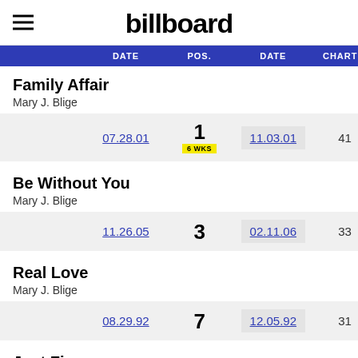billboard
| DATE | POS. | DATE | CHART |
| --- | --- | --- | --- |
| 07.28.01 | 1 / 6 WKS | 11.03.01 | 41 |
| 11.26.05 | 3 | 02.11.06 | 33 |
| 08.29.92 | 7 | 12.05.92 | 31 |
Family Affair — Mary J. Blige
Be Without You — Mary J. Blige
Real Love — Mary J. Blige
Just Fine — Mary J. Blige